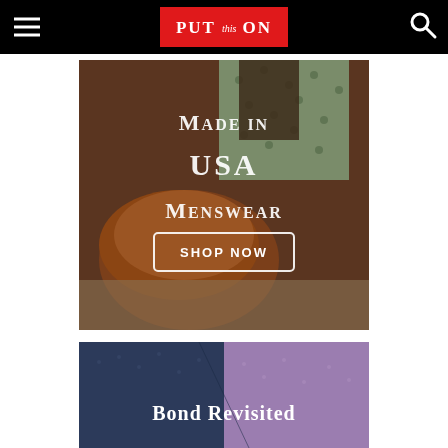PUT this ON
[Figure (photo): Close-up of brown leather penny loafers with green polka-dot socks on wooden steps, with white overlay text reading 'Made in USA Menswear' and a 'SHOP NOW' button.]
[Figure (photo): Close-up of navy and purple/lavender fabric with white text overlay reading 'Bond Revisited'.]